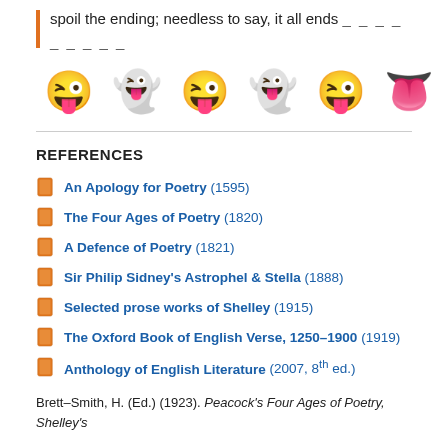spoil the ending; needless to say, it all ends _ _ _ _ _ _ _ _ _
[Figure (illustration): Row of six emoji: winking face with tongue, ghost with tongue, winking face with tongue, ghost with tongue, winking face with tongue, tongue emoji]
REFERENCES
An Apology for Poetry (1595)
The Four Ages of Poetry (1820)
A Defence of Poetry (1821)
Sir Philip Sidney's Astrophel & Stella (1888)
Selected prose works of Shelley (1915)
The Oxford Book of English Verse, 1250–1900 (1919)
Anthology of English Literature (2007, 8th ed.)
Brett–Smith, H. (Ed.) (1923). Peacock's Four Ages of Poetry, Shelley's